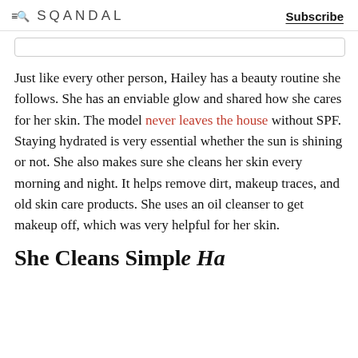≡🔍  SQANDAL   Subscribe
Just like every other person, Hailey has a beauty routine she follows. She has an enviable glow and shared how she cares for her skin. The model never leaves the house without SPF. Staying hydrated is very essential whether the sun is shining or not. She also makes sure she cleans her skin every morning and night. It helps remove dirt, makeup traces, and old skin care products. She uses an oil cleanser to get makeup off, which was very helpful for her skin.
She Cleans Simple Ha...